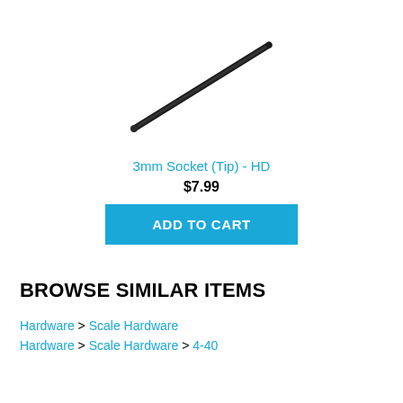[Figure (photo): A long thin dark metallic rod or socket tip (3mm Socket Tip - HD) shown diagonally against a white background]
3mm Socket (Tip) - HD
$7.99
ADD TO CART
BROWSE SIMILAR ITEMS
Hardware > Scale Hardware
Hardware > Scale Hardware > 4-40